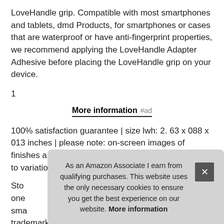LoveHandle grip. Compatible with most smartphones and tablets, dmd Products, for smartphones or cases that are waterproof or have anti-fingerprint properties, we recommend applying the LoveHandle Adapter Adhesive before placing the LoveHandle grip on your device.
1
More information #ad
100% satisfaction guarantee | size lwh: 2. 63 x 088 x 013 inches | please note: on-screen images of finishes and colors may vary from actual product due to variations in monitor and image capture settings.
Stop... one... sma... trademarks are the property of their respective owners
As an Amazon Associate I earn from qualifying purchases. This website uses the only necessary cookies to ensure you get the best experience on our website. More information